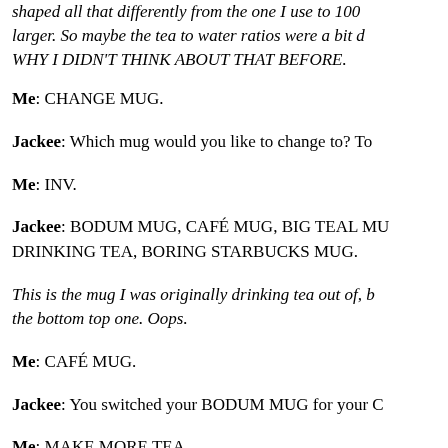shaped all that differently from the one I use to 100 larger. So maybe the tea to water ratios were a bit d WHY I DIDN'T THINK ABOUT THAT BEFORE.
Me: CHANGE MUG.
Jackee: Which mug would you like to change to? To
Me: INV.
Jackee: BODUM MUG, CAFÉ MUG, BIG TEAL MU DRINKING TEA, BORING STARBUCKS MUG.
This is the mug I was originally drinking tea out of, b the bottom top one. Oops.
Me: CAFÉ MUG.
Jackee: You switched your BODUM MUG for your C
Me: MAKE MORE TEA.
Jackee: You turn on your KETTLE and wait for th